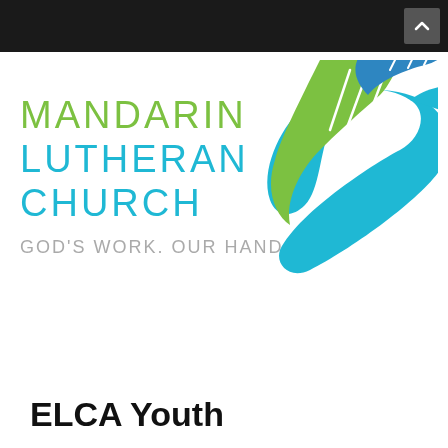[Figure (logo): Mandarin Lutheran Church logo with dove/hands icon in green, blue, and teal, with text 'MANDARIN LUTHERAN CHURCH' and tagline 'GOD'S WORK. OUR HANDS.']
ELCA Youth